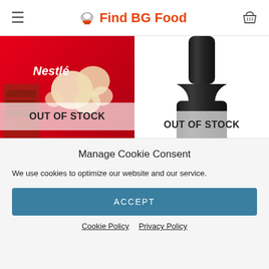Find BG Food
[Figure (photo): Nestlé chocolate bar product image with OUT OF STOCK overlay]
[Figure (photo): Wine bottle (Wealth label) product image with OUT OF STOCK overlay]
Manage Cookie Consent
We use cookies to optimize our website and our service.
ACCEPT
Cookie Policy   Privacy Policy